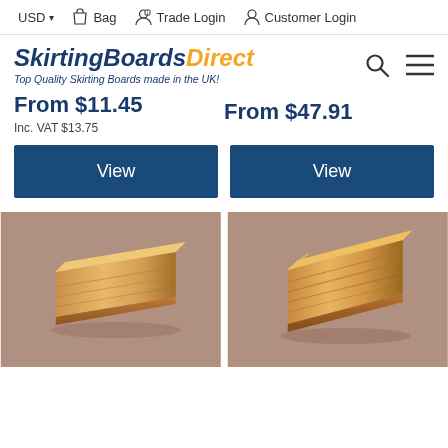USD   Bag   Trade Login   Customer Login
SkirtingBoardsDirect — Top Quality Skirting Boards made in the UK!
From $11.45
Inc. VAT $13.75
From $47.91
View
View
[Figure (photo): 3D render of a wooden skirting board profile on a grey-brown background, left product]
[Figure (photo): 3D render of a wooden skirting board profile on a grey-brown background, right product]